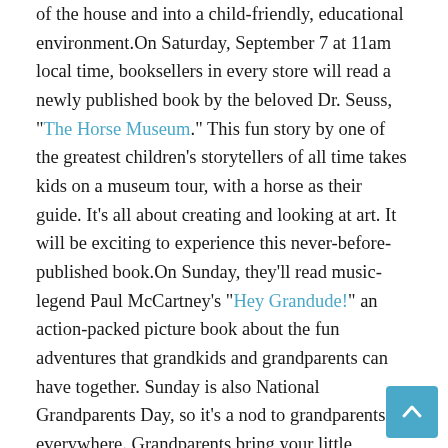of the house and into a child-friendly, educational environment.On Saturday, September 7 at 11am local time, booksellers in every store will read a newly published book by the beloved Dr. Seuss, "The Horse Museum." This fun story by one of the greatest children's storytellers of all time takes kids on a museum tour, with a horse as their guide. It's all about creating and looking at art. It will be exciting to experience this never-before-published book.On Sunday, they'll read music-legend Paul McCartney's "Hey Grandude!" an action-packed picture book about the fun adventures that grandkids and grandparents can have together. Sunday is also National Grandparents Day, so it's a nod to grandparents everywhere. Grandparents bring your little ones!"It was important to mark this momentous occasion with a special event," Fryling said. "One million is undoubtedly a significant number to reach with anything. It's an exciting time from which to look forward and launch our next million Storytimes.""Our booksellers are the